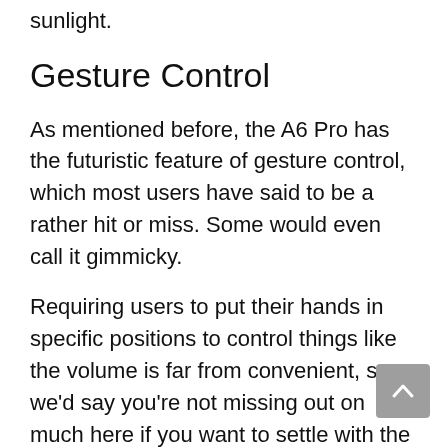sunlight.
Gesture Control
As mentioned before, the A6 Pro has the futuristic feature of gesture control, which most users have said to be a rather hit or miss. Some would even call it gimmicky.
Requiring users to put their hands in specific positions to control things like the volume is far from convenient, so we’d say you’re not missing out on much here if you want to settle with the A6.
Steering Control
Another feature that the Pro version has and